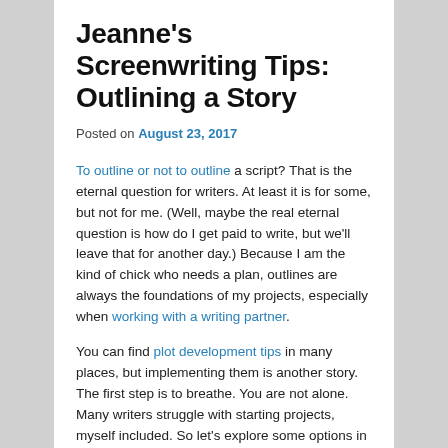Jeanne's Screenwriting Tips: Outlining a Story
Posted on August 23, 2017
To outline or not to outline a script? That is the eternal question for writers. At least it is for some, but not for me. (Well, maybe the real question is how do I get paid to write, but we'll leave that for another day.) Because I am the kind of chick who needs a plan, outlines are always the foundations of my projects, especially when working with a writing partner.
You can find plot development tips in many places, but implementing them is another story. The first step is to breathe. You are not alone. Many writers struggle with starting projects, myself included. So let's explore some options in hopes you'll find one that works best for you.